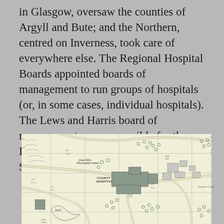in Glasgow, oversaw the counties of Argyll and Bute; and the Northern, centred on Inverness, took care of everywhere else. The Regional Hospital Boards appointed boards of management to run groups of hospitals (or, in some cases, individual hospitals). The Lews and Harris board of management was responsible for the Lewis and County Hospitals in Stornoway.
[Figure (map): Ordnance Survey style map showing County Hospital in Stornoway area, with road networks, field boundaries, trees, and surrounding buildings marked.]